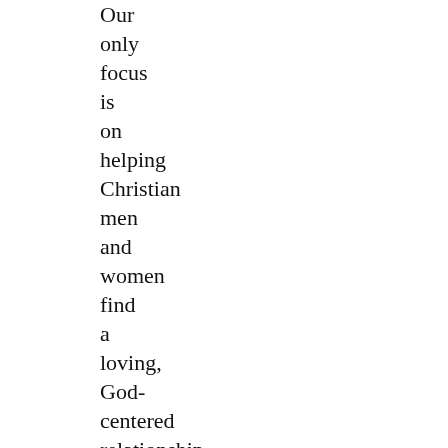Our only focus is on helping Christian men and women find a loving, God-centered relationship built on mutual faith and love Stormi henley dating but